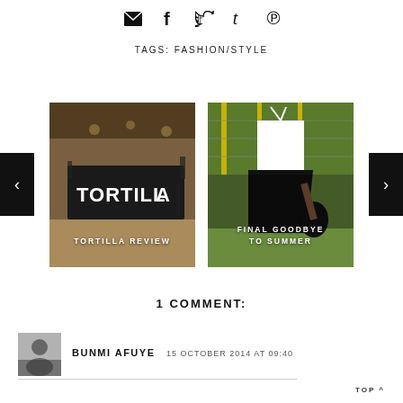[Figure (other): Social sharing icons: email/envelope, Facebook f, Twitter bird, Tumblr t, Pinterest P]
TAGS: FASHION/STYLE
[Figure (photo): Carousel with two images. Left: Tortilla restaurant photo with text 'TORTILLA REVIEW'. Right: Fashion photo of woman in black skirt and white top with text 'FINAL GOODBYE TO SUMMER'. Left and right navigation arrows on black backgrounds.]
1 COMMENT:
BUNMI AFUYE  15 OCTOBER 2014 AT 09:40